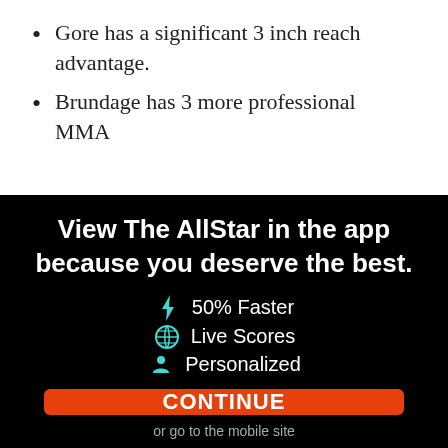Gore has a significant 3 inch reach advantage.
Brundage has 3 more professional MMA
View The AllStar in the app because you deserve the best.
50% Faster
Live Scores
Personalized
CONTINUE
or go to the mobile site